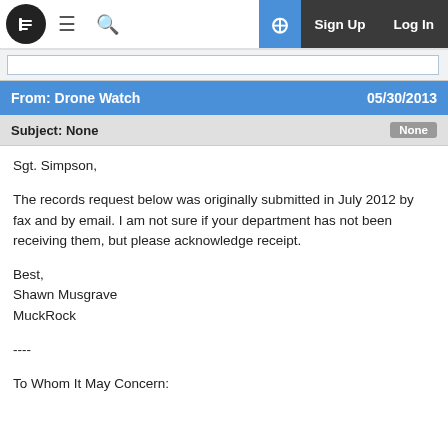From: Drone Watch   05/30/2013
Subject: None   None
Sgt. Simpson,

The records request below was originally submitted in July 2012 by fax and by email. I am not sure if your department has not been receiving them, but please acknowledge receipt.

Best,
Shawn Musgrave
MuckRock

----

To Whom It May Concern: